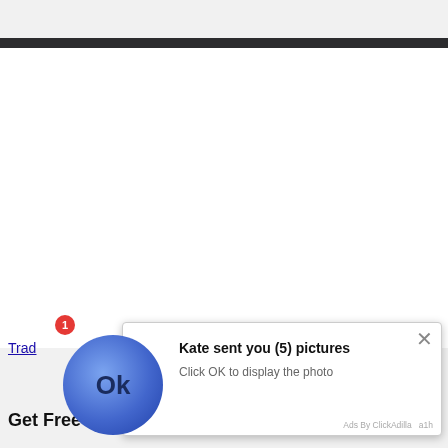[Figure (screenshot): Browser screenshot showing a webpage with a dark navigation bar at top, a large white content area, a partial blue hyperlink text 'Trad' at lower left, and bottom promotional text.]
[Figure (infographic): Ad popup overlay: blue circle avatar with 'Ok' text, notification badge '1' in red, title 'Kate sent you (5) pictures', subtitle 'Click OK to display the photo', close X button, and 'Ads By ClickAdilla a1h' label.]
Trad
Get Free $1 and collect up to %70 Daily profit